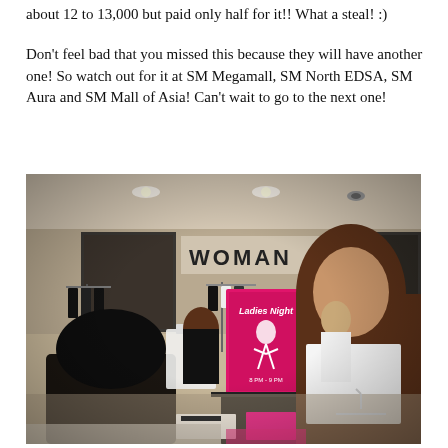about 12 to 13,000 but paid only half for it!! What a steal! :)
Don't feel bad that you missed this because they will have another one! So watch out for it at SM Megamall, SM North EDSA, SM Aura and SM Mall of Asia! Can't wait to go to the next one!
[Figure (photo): Indoor photo of a clothing store (SM department store) with shoppers browsing racks of clothes. A pink promotional display sign is visible in the center background with 'Ladies Night' text. The store has ceiling lights and a 'WOMAN' sign visible on the wall.]